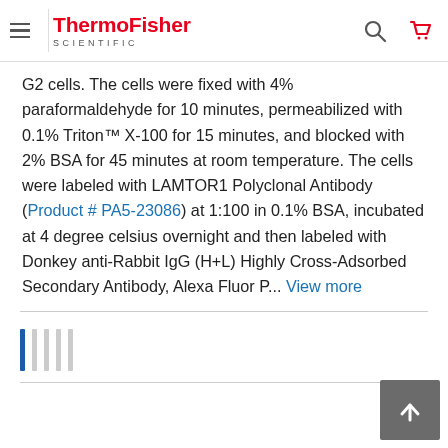ThermoFisher SCIENTIFIC
G2 cells. The cells were fixed with 4% paraformaldehyde for 10 minutes, permeabilized with 0.1% Triton™ X-100 for 15 minutes, and blocked with 2% BSA for 45 minutes at room temperature. The cells were labeled with LAMTOR1 Polyclonal Antibody (Product # PA5-23086) at 1:100 in 0.1% BSA, incubated at 4 degree celsius overnight and then labeled with Donkey anti-Rabbit IgG (H+L) Highly Cross-Adsorbed Secondary Antibody, Alexa Fluor P... View more